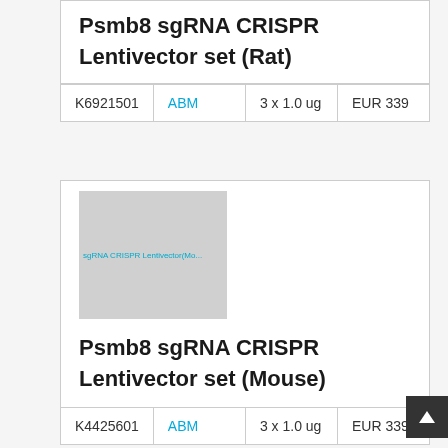Psmb8 sgRNA CRISPR Lentivector set (Rat)
|  |  |  |  |
| --- | --- | --- | --- |
| K6921501 | ABM | 3 x 1.0 ug | EUR 339 |
[Figure (photo): Product image placeholder for Psmb8 sgRNA CRISPR Lentivector set (Mouse)]
Psmb8 sgRNA CRISPR Lentivector set (Mouse)
|  |  |  |  |
| --- | --- | --- | --- |
| K4425601 | ABM | 3 x 1.0 ug | EUR 339 |